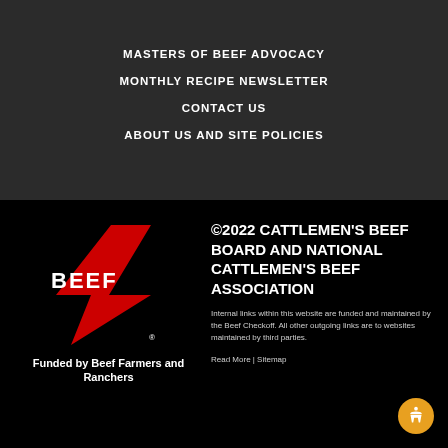MASTERS OF BEEF ADVOCACY
MONTHLY RECIPE NEWSLETTER
CONTACT US
ABOUT US AND SITE POLICIES
[Figure (logo): Beef checkoff logo with red checkmark and BEEF text, with tagline Funded by Beef Farmers and Ranchers]
©2022 CATTLEMEN'S BEEF BOARD AND NATIONAL CATTLEMEN'S BEEF ASSOCIATION
Internal links within this website are funded and maintained by the Beef Checkoff. All other outgoing links are to websites maintained by third parties.
Read More | Sitemap